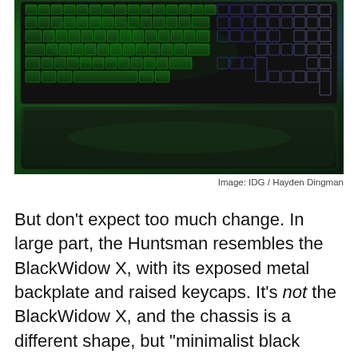[Figure (photo): Top-down photo of a Razer mechanical keyboard with green RGB backlighting on a dark green background, showing the keys and a large wrist rest pad below.]
Image: IDG / Hayden Dingman
But don't expect too much change. In large part, the Huntsman resembles the BlackWidow X, with its exposed metal backplate and raised keycaps. It's not the BlackWidow X, and the chassis is a different shape, but “minimalist black rectangle” doesn’t leave you a lot to work with. In other words, the layperson could be forgiven for mistaking the two at a glance.